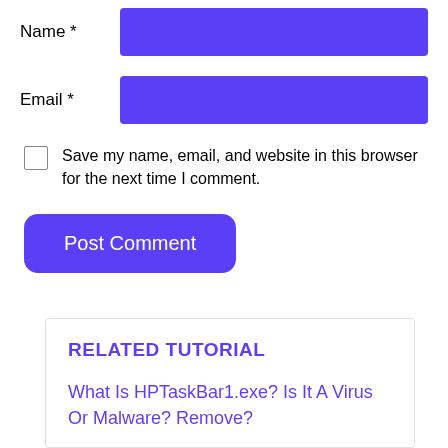Name *
Email *
Save my name, email, and website in this browser for the next time I comment.
Post Comment
RELATED TUTORIAL
What Is HPTaskBar1.exe? Is It A Virus Or Malware? Remove?